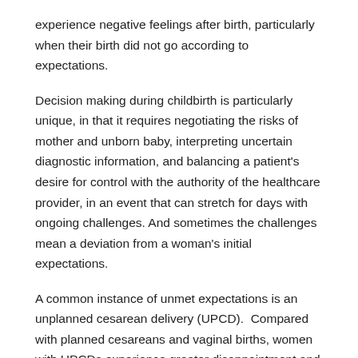experience negative feelings after birth, particularly when their birth did not go according to expectations.
Decision making during childbirth is particularly unique, in that it requires negotiating the risks of mother and unborn baby, interpreting uncertain diagnostic information, and balancing a patient's desire for control with the authority of the healthcare provider, in an event that can stretch for days with ongoing challenges. And sometimes the challenges mean a deviation from a woman's initial expectations.
A common instance of unmet expectations is an unplanned cesarean delivery (UPCD). Compared with planned cesareans and vaginal births, women with UPCDs experience greater disappointment and feelings of failure, are at greater risk for postpartum depression, and post-traumatic stress.